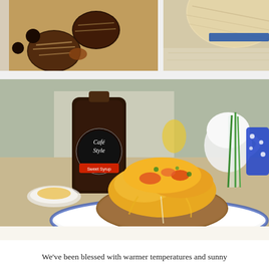[Figure (photo): Top strip of two food/lifestyle photos side by side: left shows chocolate-dipped oat energy balls, right shows a straw hat or textile item]
[Figure (photo): Main large food photo showing a loaded baked potato with melted cheese, bacon, and vegetables on a white plate, with a Café Style syrup bottle and blue polka-dot cup in the background]
We've been blessed with warmer temperatures and sunny